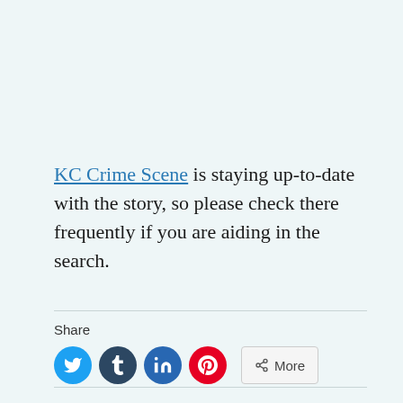KC Crime Scene is staying up-to-date with the story, so please check there frequently if you are aiding in the search.
Share
[Figure (other): Social sharing buttons: Twitter (blue circle with bird icon), Tumblr (dark blue circle with t icon), LinkedIn (dark blue circle with in icon), Pinterest (red circle with P icon), and a More button with share icon]